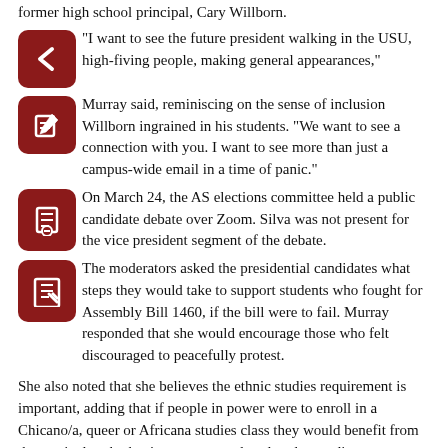former high school principal, Cary Willborn.
“I want to see the future president walking in the USU, high-fiving people, making general appearances,” Murray said, reminiscing on the sense of inclusion Willborn ingrained in his students. “We want to see a connection with you. I want to see more than just a campus-wide email in a time of panic.”
On March 24, the AS elections committee held a public candidate debate over Zoom. Silva was not present for the vice president segment of the debate.
The moderators asked the presidential candidates what steps they would take to support students who fought for Assembly Bill 1460, if the bill were to fail. Murray responded that she would encourage those who felt discouraged to peacefully protest.
She also noted that she believes the ethnic studies requirement is important, adding that if people in power were to enroll in a Chicano/a, queer or Africana studies class they would benefit from the curriculum by having stronger cultural understandings.
“Furthermore, CSUN itself is a melting pot. So there’s no reason to take the opportunity to understand one another away,” Murray said.
If Murray would learn...